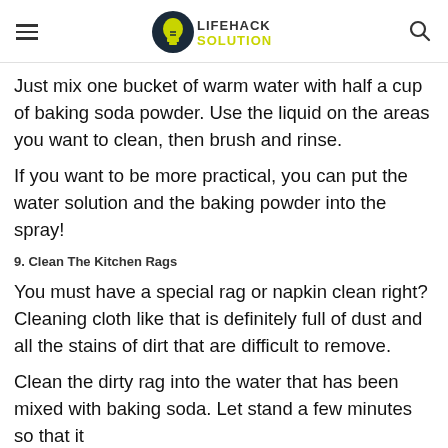LIFEHACK SOLUTION
Just mix one bucket of warm water with half a cup of baking soda powder. Use the liquid on the areas you want to clean, then brush and rinse.
If you want to be more practical, you can put the water solution and the baking powder into the spray!
9. Clean The Kitchen Rags
You must have a special rag or napkin clean right? Cleaning cloth like that is definitely full of dust and all the stains of dirt that are difficult to remove.
Clean the dirty rag into the water that has been mixed with baking soda. Let stand a few minutes so that it